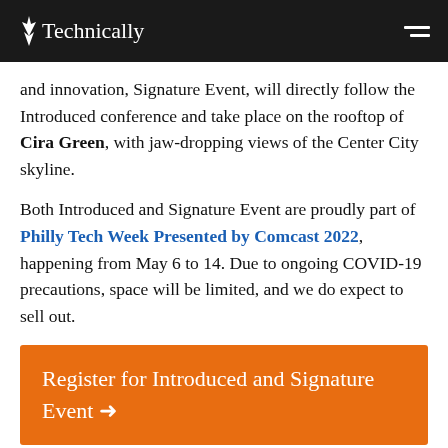Technically
and innovation, Signature Event, will directly follow the Introduced conference and take place on the rooftop of Cira Green, with jaw-dropping views of the Center City skyline.
Both Introduced and Signature Event are proudly part of Philly Tech Week Presented by Comcast 2022, happening from May 6 to 14. Due to ongoing COVID-19 precautions, space will be limited, and we do expect to sell out.
Register for Introduced and Signature Event →